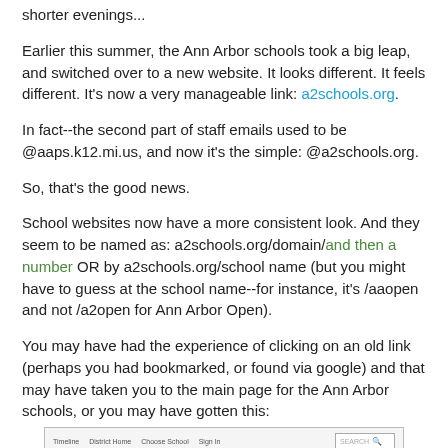shorter evenings...
Earlier this summer, the Ann Arbor schools took a big leap, and switched over to a new website. It looks different. It feels different. It's now a very manageable link: a2schools.org.
In fact--the second part of staff emails used to be @aaps.k12.mi.us, and now it's the simple: @a2schools.org.
So, that's the good news.
School websites now have a more consistent look. And they seem to be named as: a2schools.org/domain/and then a number OR by a2schools.org/school name (but you might have to guess at the school name--for instance, it's /aaopen and not /a2open for Ann Arbor Open).
You may have had the experience of clicking on an old link (perhaps you had bookmarked, or found via google) and that may have taken you to the main page for the Ann Arbor schools, or you may have gotten this:
[Figure (screenshot): Screenshot of a website navigation bar with links (Timeline, District Home, Choose School, Sign In) and a search box]